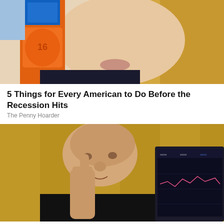[Figure (photo): Close-up of a blonde woman holding an orange bottle near her face]
5 Things for Every American to Do Before the Recession Hits
The Penny Hoarder
[Figure (photo): Bald man in black shirt touching his face while looking at a trading screen showing crypto charts]
Crypto Shark Explains His 6 Minute System Angering Crypto Millionaires
6 Minute System